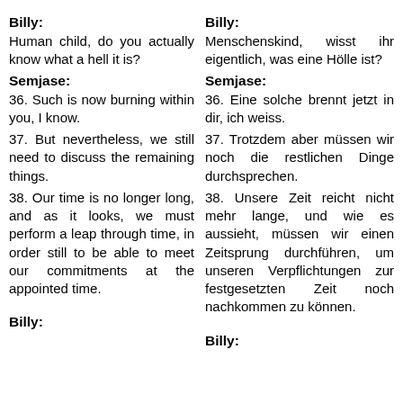Billy:
Billy:
Human child, do you actually know what a hell it is?
Menschenskind, wisst ihr eigentlich, was eine Hölle ist?
Semjase:
Semjase:
36. Such is now burning within you, I know.
36. Eine solche brennt jetzt in dir, ich weiss.
37. But nevertheless, we still need to discuss the remaining things.
37. Trotzdem aber müssen wir noch die restlichen Dinge durchsprechen.
38. Our time is no longer long, and as it looks, we must perform a leap through time, in order still to be able to meet our commitments at the appointed time.
38. Unsere Zeit reicht nicht mehr lange, und wie es aussieht, müssen wir einen Zeitsprung durchführen, um unseren Verpflichtungen zur festgesetzten Zeit noch nachkommen zu können.
Billy:
Billy: